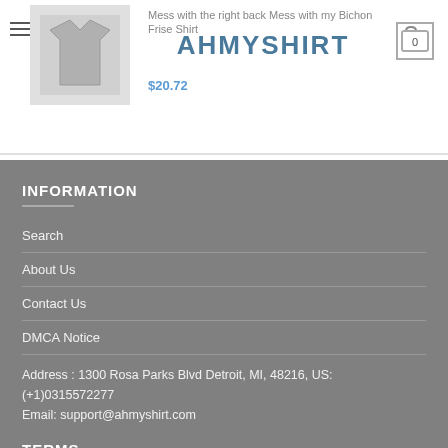Mess with the right back Mess with my Bichon Frise Shirt $20.72 | AHMYSHIRT | Cart: 0
INFORMATION
Search
About Us
Contact Us
DMCA Notice
Address : 1300 Rosa Parks Blvd Detroit, MI, 48216, US: (+1)0315572277
Email: support@ahmyshirt.com
TERMS